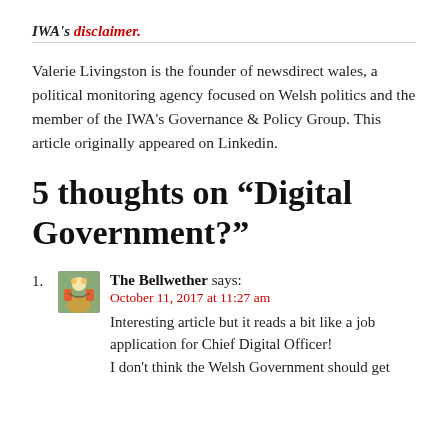IWA's disclaimer.
Valerie Livingston is the founder of newsdirect wales, a political monitoring agency focused on Welsh politics and the member of the IWA's Governance & Policy Group. This article originally appeared on Linkedin.
5 thoughts on “Digital Government?”
The Bellwether says:
October 11, 2017 at 11:27 am
Interesting article but it reads a bit like a job application for Chief Digital Officer!
I don’t think the Welsh Government should get